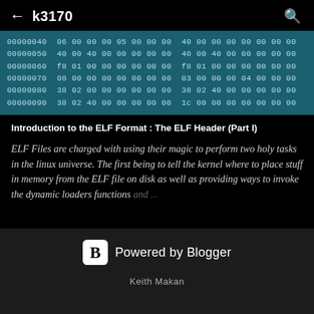← k3170 🔍
[Figure (screenshot): Hex dump showing memory addresses 00000040 through 00000090 with hex byte values, displayed on teal/dark background]
Introduction to the ELF Format : The ELF Header (Part I)
ELF Files are charged with using their magic to perform two holy tasks in the linux universe. The first being to tell the kernel where to place stuff in memory from the ELF file on disk as well as providing ways to invoke the dynamic loaders functions and ...
Powered by Blogger
Keith Makan